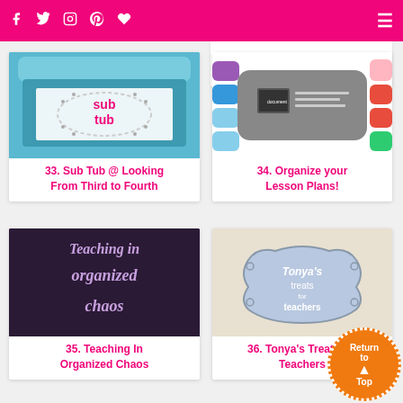Navigation bar with social icons and menu
[Figure (screenshot): Sub Tub box with blue lid and decorative label reading 'sub tub']
33. Sub Tub @ Looking From Third to Fourth
[Figure (screenshot): Organize your Lesson Plans app or document organizer graphic with colored tabs]
34. Organize your Lesson Plans!
[Figure (screenshot): Dark purple background with decorative text reading 'Teaching in organized chaos']
35. Teaching In Organized Chaos
[Figure (screenshot): Tonya's Treats for Teachers logo on linen background]
36. Tonya's Treats for Teachers